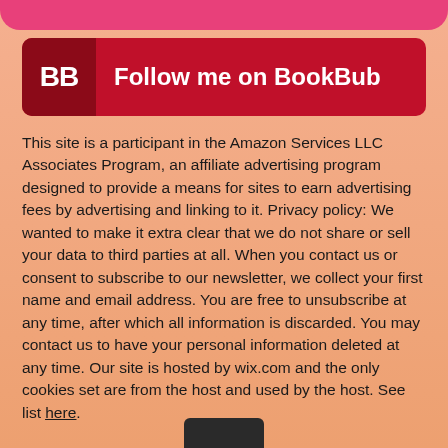[Figure (logo): BookBub follow button banner — dark red background with 'BB' logo on left and 'Follow me on BookBub' text in white on right]
This site is a participant in the Amazon Services LLC Associates Program, an affiliate advertising program designed to provide a means for sites to earn advertising fees by advertising and linking to it. Privacy policy: We wanted to make it extra clear that we do not share or sell your data to third parties at all. When you contact us or consent to subscribe to our newsletter, we collect your first name and email address. You are free to unsubscribe at any time, after which all information is discarded. You may contact us to have your personal information deleted at any time. Our site is hosted by wix.com and the only cookies set are from the host and used by the host. See list here.